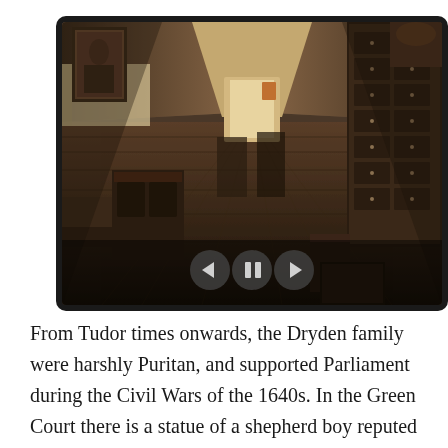[Figure (photo): Interior photograph of a long historic hallway or corridor with dark wooden floorboards, dark wood furniture including a large cabinet on the right, paintings on walls, and a doorway visible at the far end. Media player controls (back, pause, forward) are overlaid at the bottom center of the image.]
From Tudor times onwards, the Dryden family were harshly Puritan, and supported Parliament during the Civil Wars of the 1640s. In the Green Court there is a statue of a shepherd boy reputed to have warned the Parliament troops stationed at Canons Ashby about the approach of Royalist forces. It is rather curious, therefore, that a portrait of King Charles I is displayed rather prominently in